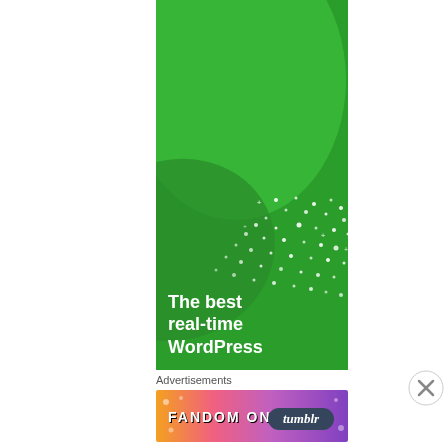[Figure (illustration): Green WordPress advertisement banner with decorative ellipses and sparkle dots, showing text 'The best real-time WordPress' in white bold font at the bottom]
Advertisements
[Figure (illustration): Fandom on Tumblr advertisement banner with colorful gradient background (orange, pink, purple) and 'FANDOM ON tumblr' text in bold black/white letters with decorative icons]